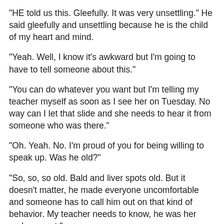"HE told us this. Gleefully. It was very unsettling." He said gleefully and unsettling because he is the child of my heart and mind.
"Yeah. Well, I know it's awkward but I'm going to have to tell someone about this."
"You can do whatever you want but I'm telling my teacher myself as soon as I see her on Tuesday. No way can I let that slide and she needs to hear it from someone who was there."
"Oh. Yeah. No. I'm proud of you for being willing to speak up. Was he old?"
"So, so, so old. Bald and liver spots old. But it doesn't matter, he made everyone uncomfortable and someone has to call him out on that kind of behavior. My teacher needs to know, he was her replacement."
I'm still going to follow up but it sounds like he has it handled. And I he is so proud of his willingness to speak up.